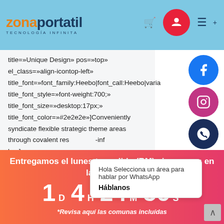[Figure (screenshot): ZonaPortatil website header with logo and navigation icons on light blue background]
title=»Unique Design» pos=»top» el_class=»align-icontop-left» title_font=»font_family:Heebo|font_call:Heebo|varia title_font_style=»font-weight:700;» title_font_size=»desktop:17px;» title_font_color=»#2e2e2e»]Conveniently syndicate flexible strategic theme areas through covalent res -inf box]
Hola Selecciona un área para hablar por WhatsApp Háblanos
Entregamos el lunes tu pedido (RM) si compras en las próximas
1 D  4 H  24 M  56 S
*Revisa aquí las comunas incluídas